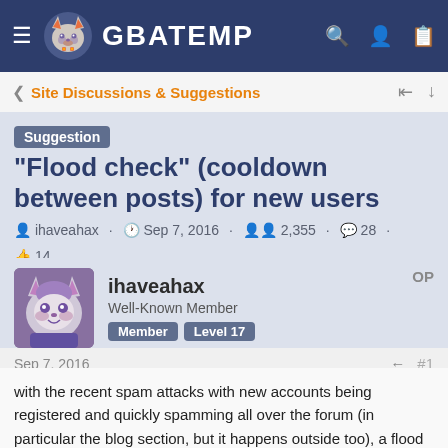GBATEMP
Site Discussions & Suggestions
Suggestion "Flood check" (cooldown between posts) for new users
ihaveahax · Sep 7, 2016 · 2,355 · 28 · 14
ihaveahax
Well-Known Member
Member Level 17
OP
Sep 7, 2016  #1
with the recent spam attacks with new accounts being registered and quickly spamming all over the forum (in particular the blog section, but it happens outside too), a flood check needs to be implemented for new users. that is, when a new user makes a post, a new post can't be created for a certain amount of time like 30 seconds or 60 or something.

I think this would really slow down spammers before they can spread to